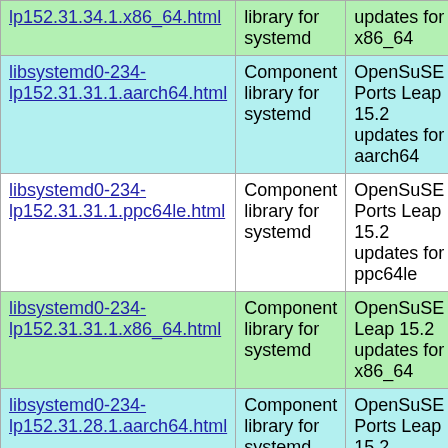| Package | Description | Repository | Link |
| --- | --- | --- | --- |
| libsystemd0-234-lp152.31.34.1.x86_64.html | library for systemd | updates for x86_64 | lp152.31.34.1... |
| libsystemd0-234-lp152.31.31.1.aarch64.html | Component library for systemd | OpenSuSE Ports Leap 15.2 updates for aarch64 | libsystemd0-2 lp152.31.31.1... |
| libsystemd0-234-lp152.31.31.1.ppc64le.html | Component library for systemd | OpenSuSE Ports Leap 15.2 updates for ppc64le | libsystemd0-2 lp152.31.31.1... |
| libsystemd0-234-lp152.31.31.1.x86_64.html | Component library for systemd | OpenSuSE Leap 15.2 updates for x86_64 | libsystemd0-2 lp152.31.31.1... |
| libsystemd0-234-lp152.31.28.1.aarch64.html | Component library for systemd | OpenSuSE Ports Leap 15.2 updates for aarch64 | libsystemd0-2 lp152.31.28.1... |
| libsystemd0-234-lp152.31.28.1.ppc64le.html | Component library for systemd | OpenSuSE Ports Leap 15.2 updates for ppc64le | libsystemd0-2 lp152.31.28.1... |
| libsystemd0-234-... | Component library for systemd | OpenSuSE Leap 15.2 | libsystemd0-2... |